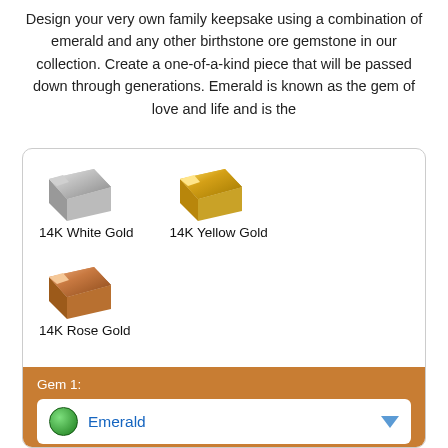Design your very own family keepsake using a combination of emerald and any other birthstone ore gemstone in our collection. Create a one-of-a-kind piece that will be passed down through generations. Emerald is known as the gem of love and life and is the
[Figure (illustration): A rounded card UI showing three gold type options (14K White Gold with a silver bar icon, 14K Yellow Gold with a yellow bar icon, 14K Rose Gold with a rose-gold bar icon), followed by a Gem 1 dropdown showing Emerald (green circle) and a Gem 2 dropdown partially visible showing London Topaz (blue globe icon), all on an orange-brown background for the gem sections.]